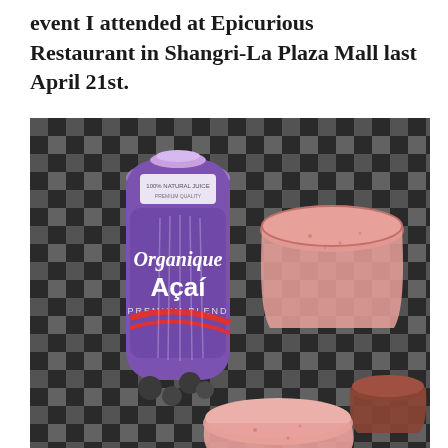event I attended at Epicurious Restaurant in Shangri-La Plaza Mall last April 21st.
[Figure (photo): Overhead photo of an Organique Açai Premium Blend bottle placed on a black and white checkered tablecloth, accompanied by two glasses of pink smoothie and a small cup of chocolate-colored drink.]